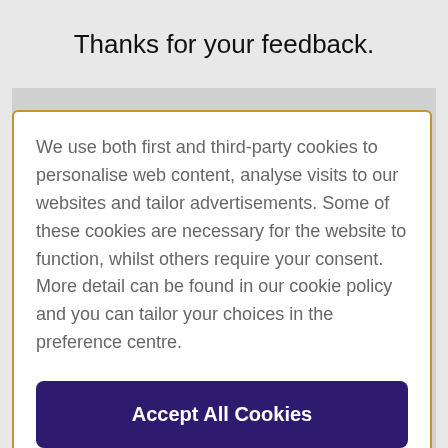Thanks for your feedback.
We use both first and third-party cookies to personalise web content, analyse visits to our websites and tailor advertisements. Some of these cookies are necessary for the website to function, whilst others require your consent. More detail can be found in our cookie policy and you can tailor your choices in the preference centre.
Accept All Cookies
Cookies Settings